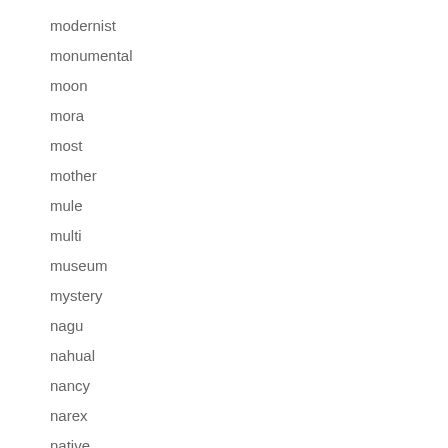modernist
monumental
moon
mora
most
mother
mule
multi
museum
mystery
nagu
nahual
nancy
narex
native
nativity